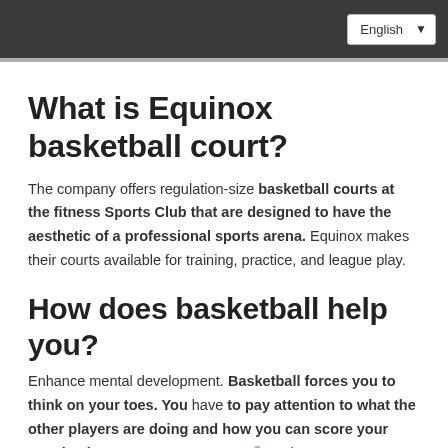English
What is Equinox basketball court?
The company offers regulation-size basketball courts at the fitness Sports Club that are designed to have the aesthetic of a professional sports arena. Equinox makes their courts available for training, practice, and league play.
How does basketball help you?
Enhance mental development. Basketball forces you to think on your toes. You have to pay attention to what the other players are doing and how you can score your next basket. It's easy to zone out 🔒 at the gym. You get into a certain